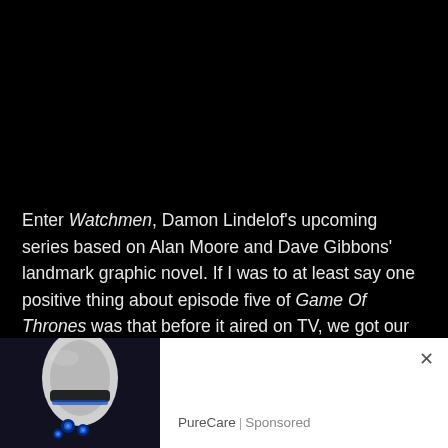Enter Watchmen, Damon Lindelof's upcoming series based on Alan Moore and Dave Gibbons' landmark graphic novel. If I was to at least say one positive thing about episode five of Game Of Thrones was that before it aired on TV, we got our first glimpse into exactly what Mr. Leftovers has to offer.
[Figure (photo): Advertisement image showing a white robotic or electronic device with blue LED lights, shown from below against a dark background. Beside it is a white advertisement area with PureCare | Sponsored text and a close (×) button.]